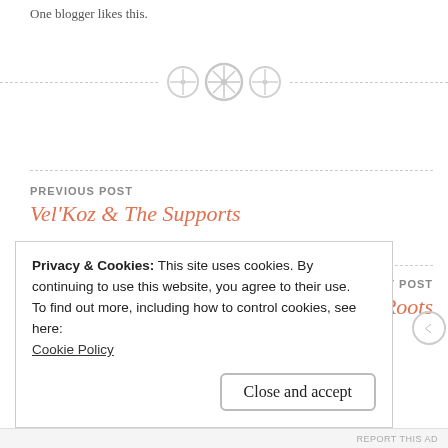One blogger likes this.
[Figure (illustration): Three decorative button/grid icons used as a section divider, on a dashed horizontal line]
PREVIOUS POST
Vel'Koz & The Supports
NEXT POST
Going Back To My Roots
Privacy & Cookies: This site uses cookies. By continuing to use this website, you agree to their use.
To find out more, including how to control cookies, see here:
Cookie Policy
Close and accept